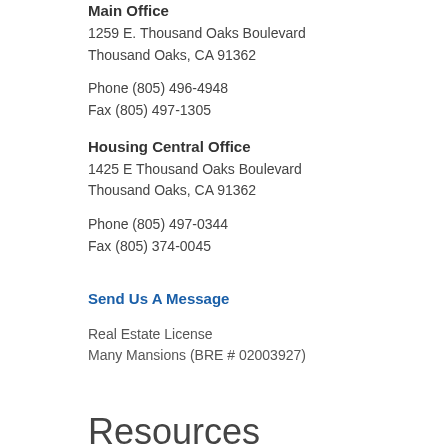Main Office
1259 E. Thousand Oaks Boulevard
Thousand Oaks, CA 91362
Phone (805) 496-4948
Fax (805) 497-1305
Housing Central Office
1425 E Thousand Oaks Boulevard
Thousand Oaks, CA 91362
Phone (805) 497-0344
Fax (805) 374-0045
Send Us A Message
Real Estate License
Many Mansions (BRE # 02003927)
Resources
Directory